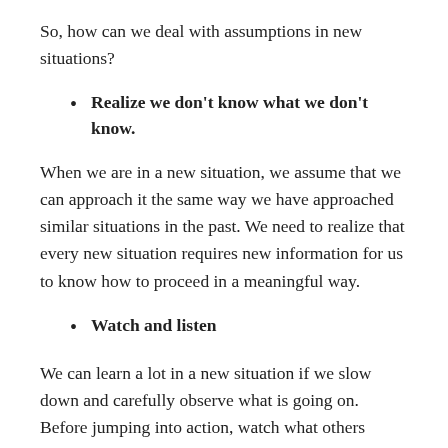So, how can we deal with assumptions in new situations?
Realize we don't know what we don't know.
When we are in a new situation, we assume that we can approach it the same way we have approached similar situations in the past. We need to realize that every new situation requires new information for us to know how to proceed in a meaningful way.
Watch and listen
We can learn a lot in a new situation if we slow down and carefully observe what is going on. Before jumping into action, watch what others around you are doing, even how they are doing things. Listen to the